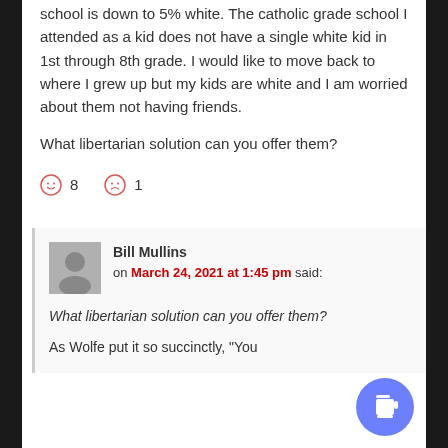school is down to 5% white. The catholic grade school I attended as a kid does not have a single white kid in 1st through 8th grade. I would like to move back to where I grew up but my kids are white and I am worried about them not having friends.
What libertarian solution can you offer them?
😊 8   ☹ 1
Bill Mullins on March 24, 2021 at 1:45 pm said:
What libertarian solution can you offer them?
As Wolfe put it so succinctly, "You